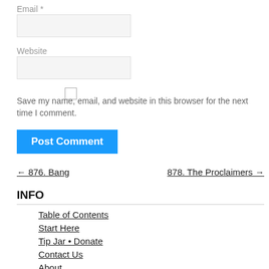Email *
Website
Save my name, email, and website in this browser for the next time I comment.
Post Comment
← 876. Bang
878. The Proclaimers →
INFO
Table of Contents
Start Here
Tip Jar • Donate
Contact Us
About
Facebook Group
Buy Books & Merch
Fanworks